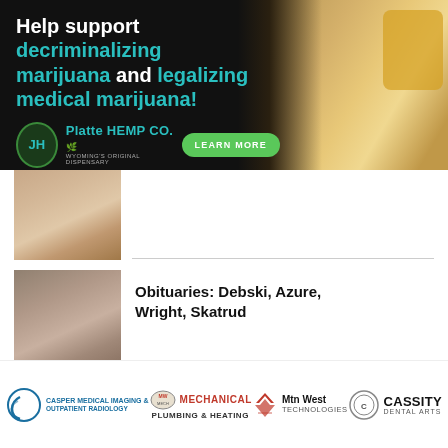[Figure (infographic): Advertisement banner for Platte Hemp Co. Text reads 'Help support decriminalizing marijuana and legalizing medical marijuana!' with a logo and 'LEARN MORE' button. Background shows a person signing a document.]
[Figure (photo): Thumbnail photo of a woman (partial, cropped at top)]
[Figure (photo): Thumbnail photo of a man wearing a cap]
Obituaries: Debski, Azure, Wright, Skatrud
[Figure (photo): Thumbnail photo of a young man]
Obituaries: Young-Johnson, Maguire, DeMarce
[Figure (logo): Casper Medical Imaging & Outpatient Radiology logo]
[Figure (logo): Mechanical Plumbing & Heating logo]
[Figure (logo): Mtn West Technologies logo]
[Figure (logo): Cassity Dental Arts logo]